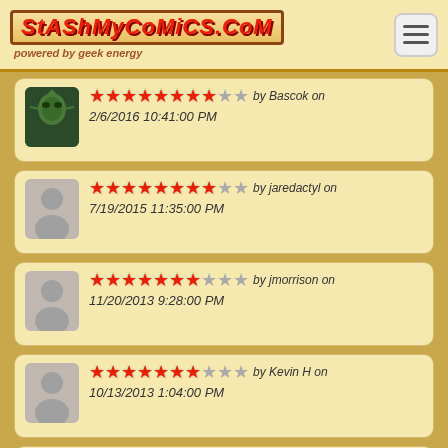StashMyComics.com powered by geek energy
by Bascok on 2/6/2016 10:41:00 PM, rating: 8/10
by jaredactyl on 7/19/2015 11:35:00 PM, rating: 8/10
by jmorrison on 11/20/2013 9:28:00 PM, rating: 7/10
by Kevin H on 10/13/2013 1:04:00 PM, rating: 7/10
by (partial), rating: 2/10